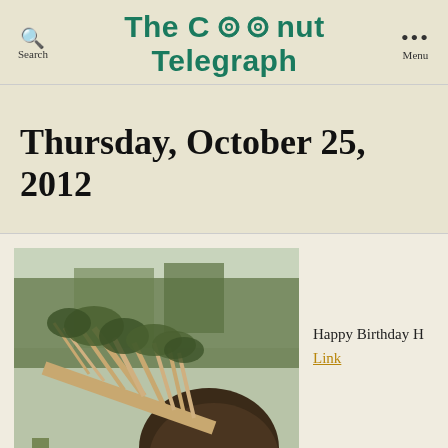Search | The Coconut Telegraph | Menu
Thursday, October 25, 2012
[Figure (photo): A large tree uprooted and fallen over, with exposed root ball on the right and branches spread across the ground, in a forested area]
Happy Birthday H
Link